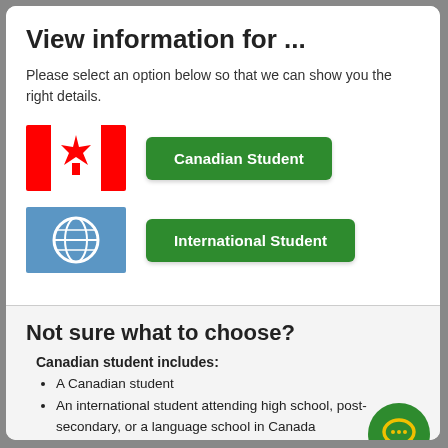View information for ...
Please select an option below so that we can show you the right details.
[Figure (illustration): Canadian flag icon — red and white with maple leaf]
[Figure (illustration): Green button labeled 'Canadian Student']
[Figure (illustration): Blue globe icon on blue background]
[Figure (illustration): Green button labeled 'International Student']
Not sure what to choose?
Canadian student includes:
A Canadian student
An international student attending high school, post-secondary, or a language school in Canada
International student includes: